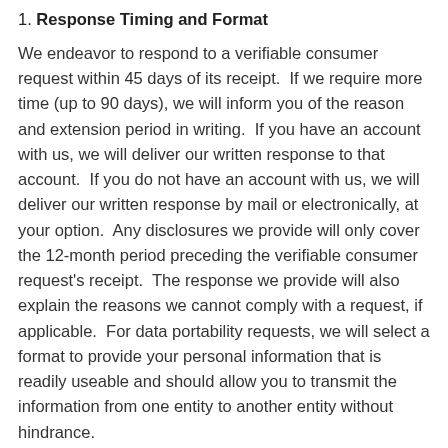1. Response Timing and Format
We endeavor to respond to a verifiable consumer request within 45 days of its receipt.  If we require more time (up to 90 days), we will inform you of the reason and extension period in writing.  If you have an account with us, we will deliver our written response to that account.  If you do not have an account with us, we will deliver our written response by mail or electronically, at your option.  Any disclosures we provide will only cover the 12-month period preceding the verifiable consumer request's receipt.  The response we provide will also explain the reasons we cannot comply with a request, if applicable.  For data portability requests, we will select a format to provide your personal information that is readily useable and should allow you to transmit the information from one entity to another entity without hindrance.